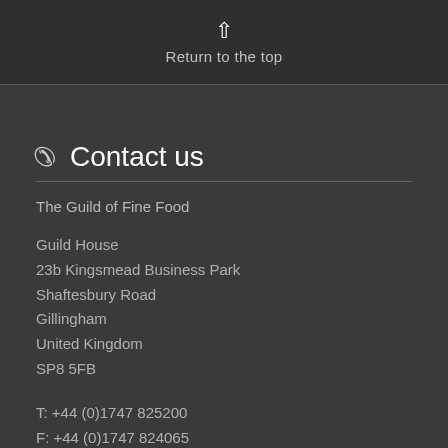Return to the top
Contact us
The Guild of Fine Food
Guild House
23b Kingsmead Business Park
Shaftesbury Road
Gillingham
United Kingdom
SP8 5FB
T: +44 (0)1747 825200
F: +44 (0)1747 824065
Connect with...